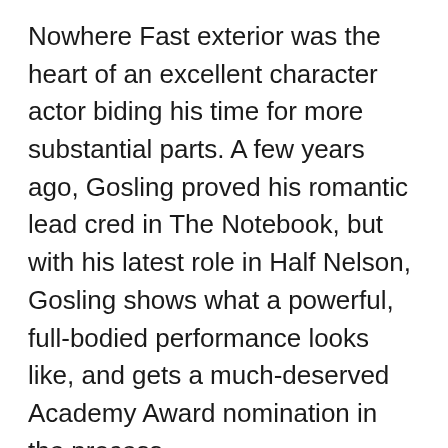Nowhere Fast exterior was the heart of an excellent character actor biding his time for more substantial parts. A few years ago, Gosling proved his romantic lead cred in The Notebook, but with his latest role in Half Nelson, Gosling shows what a powerful, full-bodied performance looks like, and gets a much-deserved Academy Award nomination in the process.
Half Nelson is about an eighth grade history teacher named Dan who tries to engage his class of inner-city students with the big broad ideas about the forces that affect history and